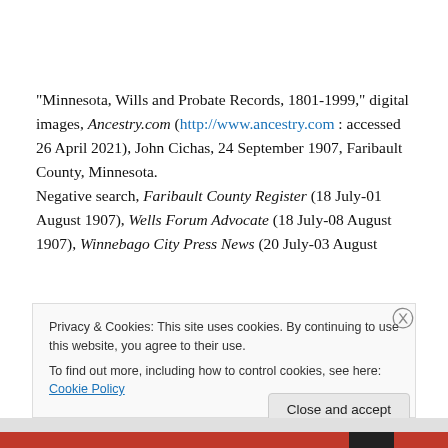“Minnesota, Wills and Probate Records, 1801-1999,” digital images, Ancestry.com (http://www.ancestry.com : accessed 26 April 2021), John Cichas, 24 September 1907, Faribault County, Minnesota.
Negative search, Faribault County Register (18 July-01 August 1907), Wells Forum Advocate (18 July-08 August 1907), Winnebago City Press News (20 July-03 August
Privacy & Cookies: This site uses cookies. By continuing to use this website, you agree to their use.
To find out more, including how to control cookies, see here: Cookie Policy
Close and accept